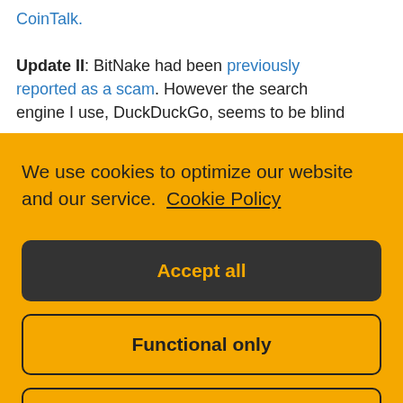CoinTalk.
Update II: BitNake had been previously reported as a scam. However the search engine I use, DuckDuckGo, seems to be blind
We use cookies to optimize our website and our service.  Cookie Policy
Accept all
Functional only
View preferences
total # of miners?